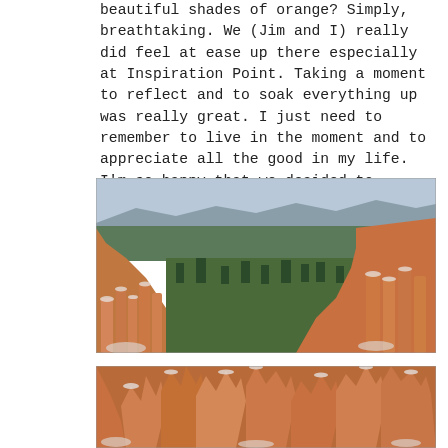beautiful shades of orange? Simply, breathtaking. We (Jim and I) really did feel at ease up there especially at Inspiration Point. Taking a moment to reflect and to soak everything up was really great. I just need to remember to live in the moment and to appreciate all the good in my life. I'm so happy that we decided to explore Bryce because it truly was stunning.
[Figure (photo): Aerial view of Bryce Canyon National Park showing orange and red hoodoo rock formations with snow patches, pine trees in a valley, and distant mountain ridges under a grey sky.]
[Figure (photo): Close-up view of Bryce Canyon hoodoo formations showing orange and red rock spires with snow patches at the base.]